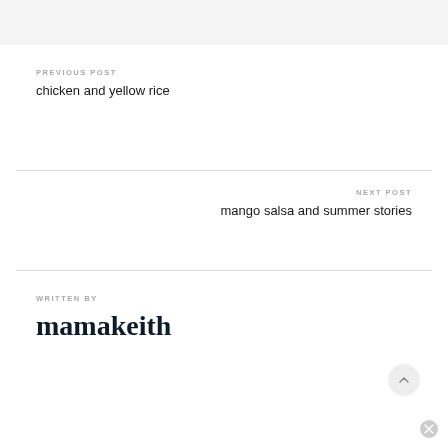[Figure (photo): Gray placeholder image at the top of the page]
PREVIOUS POST
chicken and yellow rice
NEXT POST
mango salsa and summer stories
WRITTEN BY
mamakeith